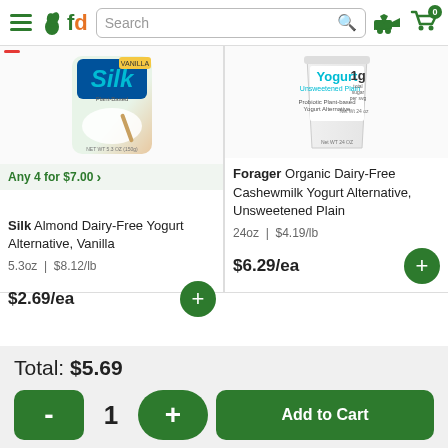fd Search [search icon] [truck icon] [cart icon 0]
[Figure (photo): Silk Almond Dairy-Free Yogurt product image with red minus badge and 'Any 4 for $7.00' deal banner]
Silk Almond Dairy-Free Yogurt Alternative, Vanilla
5.3oz | $8.12/lb
$2.69/ea
[Figure (photo): Forager Organic Dairy-Free Cashewmilk Yogurt Alternative Unsweetened Plain product image]
Forager Organic Dairy-Free Cashewmilk Yogurt Alternative, Unsweetened Plain
24oz | $4.19/lb
$6.29/ea
Total: $5.69
- 1 + Add to Cart